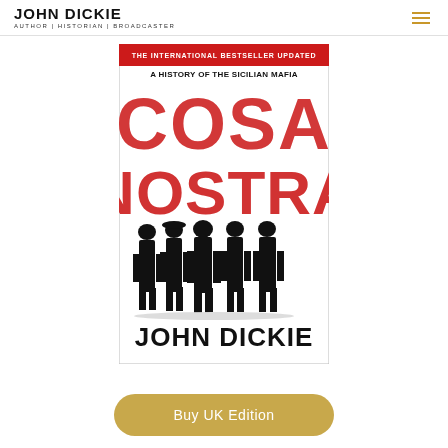JOHN DICKIE | AUTHOR | HISTORIAN | BROADCASTER
[Figure (illustration): Book cover of 'Cosa Nostra: A History of the Sicilian Mafia' by John Dickie. White background with 'THE INTERNATIONAL BESTSELLER UPDATED' in small red caps at top, 'A HISTORY OF THE SICILIAN MAFIA' in black below, 'COSA NOSTRA' in large distressed red lettering dominating the center, five men in dark suits walking across the lower half in black and white, and 'JOHN DICKIE' in large black lettering at the bottom.]
Buy UK Edition